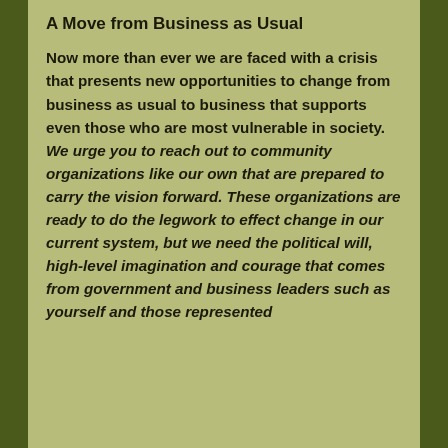A Move from Business as Usual
Now more than ever we are faced with a crisis that presents new opportunities to change from business as usual to business that supports even those who are most vulnerable in society. We urge you to reach out to community organizations like our own that are prepared to carry the vision forward. These organizations are ready to do the legwork to effect change in our current system, but we need the political will, high-level imagination and courage that comes from government and business leaders such as yourself and those represented